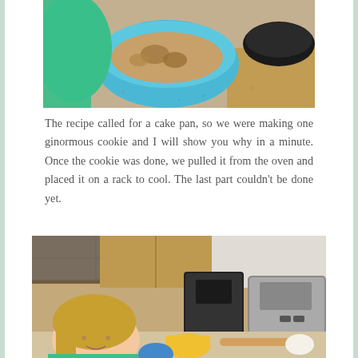[Figure (photo): Top portion of a photo showing hands mixing cookie dough in a blue bowl on a kitchen counter, with a black bowl visible in the background]
The recipe called for a cake pan, so we were making one ginormous cookie and I will show you why in a minute. Once the cookie was done, we pulled it from the oven and placed it on a rack to cool. The last part couldn't be done yet.
[Figure (photo): A young girl with blonde hair in a green sweatshirt smiling at the camera in a kitchen, with a coffee maker, toaster, measuring cups, a rolling pin, and an egg visible on the counter behind her]